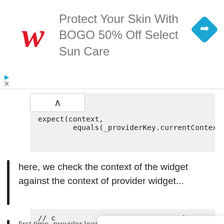[Figure (screenshot): Walgreens ad banner: red cursive W logo, text 'Protect Your Skin With BOGO 50% Off Select Sun Care', blue diamond navigation icon]
expect(context,
        equals(_providerKey.currentContext));
here, we check the context of the widget against the context of provider widget...
// c
expe
(_ch
Thank you. In case you find me worth, pass me a coffee!
first time, provider loads with null value, we have